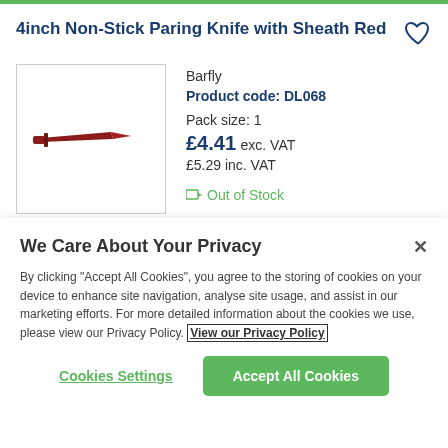4inch Non-Stick Paring Knife with Sheath Red
Barfly
Product code: DL068
Pack size: 1
£4.41 exc. VAT
£5.29 inc. VAT
Out of Stock
[Figure (photo): Red non-stick paring knife with sheath]
We Care About Your Privacy
By clicking "Accept All Cookies", you agree to the storing of cookies on your device to enhance site navigation, analyse site usage, and assist in our marketing efforts. For more detailed information about the cookies we use, please view our Privacy Policy. View our Privacy Policy
Cookies Settings
Accept All Cookies